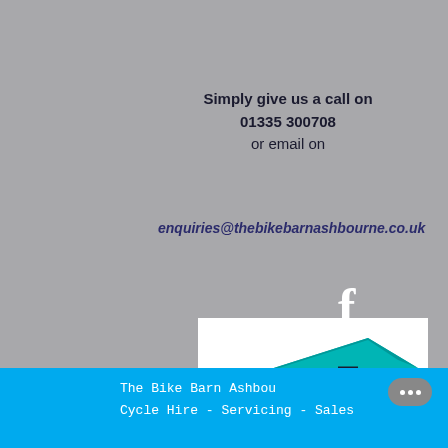Simply give us a call on 01335 300708 or email on
enquiries@thebikebarnashbourne.co.uk
[Figure (logo): Facebook 'f' icon in white on grey background]
[Figure (logo): The Bike Barn logo - teal barn shape with bicycle graphic, text reading CYCLE HIRE • SERVICING • SALES]
The Bike Barn Ashbourne • Cycle Hire - Servicing - Sales